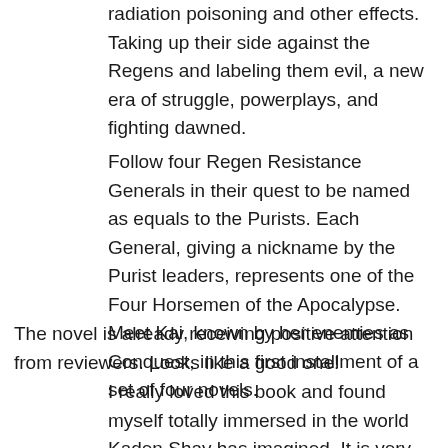radiation poisoning and other effects. Taking up their side against the Regens and labeling them evil, a new era of struggle, powerplays, and fighting dawned.
Follow four Regen Resistance Generals in their quest to be named as equals to the Purists. Each General, giving a nickname by the Purist leaders, represents one of the Four Horsemen of the Apocalypse. Meet Kai, known by her enemies as Conquest, in this first installment of a set of four novels.
The novel is already receiving positive attention from reviewers. Looks like a good one!
I really loved this book and found myself totally immersed in the world Kaden Shay has imagined. It is very well written and engaging and I can't wait for the